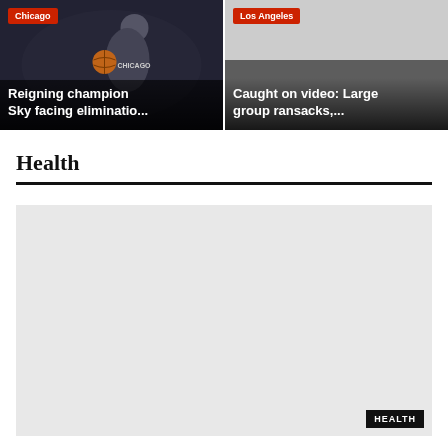[Figure (photo): Chicago Sky basketball player holding a ball, wearing Chicago jersey, dark arena background]
Chicago
Reigning champion Sky facing eliminatio...
[Figure (photo): Los Angeles news story image, gray/gradient background]
Los Angeles
Caught on video: Large group ransacks,...
Health
[Figure (photo): Large health section image, light gray placeholder with HEALTH tag in bottom right]